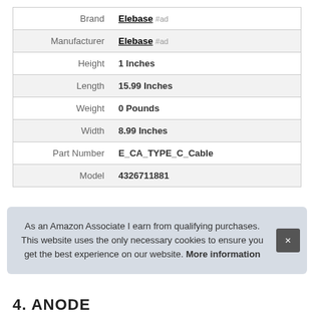|  |  |
| --- | --- |
| Brand | Elebase #ad |
| Manufacturer | Elebase #ad |
| Height | 1 Inches |
| Length | 15.99 Inches |
| Weight | 0 Pounds |
| Width | 8.99 Inches |
| Part Number | E_CA_TYPE_C_Cable |
| Model | 4326711881 |
As an Amazon Associate I earn from qualifying purchases. This website uses the only necessary cookies to ensure you get the best experience on our website. More information
4. ANODE